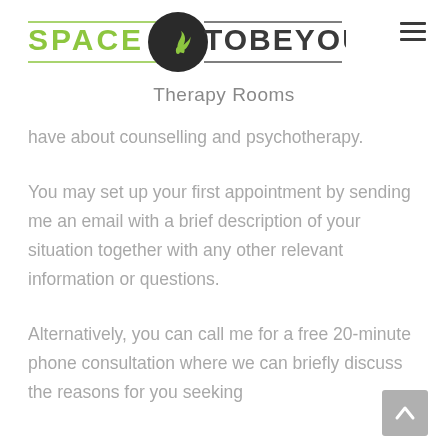[Figure (logo): Space To Be You logo — green 'SPACE' text with horizontal lines, dark circular emblem with fern/plant icon, dark 'TOBEYOU' text]
Therapy Rooms
have about counselling and psychotherapy.
You may set up your first appointment by sending me an email with a brief description of your situation together with any other relevant information or questions.
Alternatively, you can call me for a free 20-minute phone consultation where we can briefly discuss the reasons for you seeking